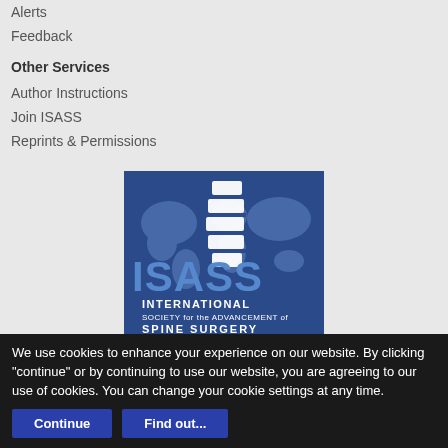Alerts
Feedback
Other Services
Author Instructions
Join ISASS
Reprints & Permissions
[Figure (logo): ISASS logo - International Society for the Advancement of Spine Surgery, blue background with world map and stylized spine graphic]
We use cookies to enhance your experience on our website. By clicking "continue" or by continuing to use our website, you are agreeing to our use of cookies. You can change your cookie settings at any time.